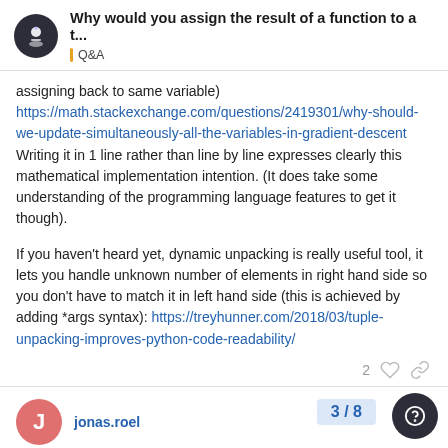Why would you assign the result of a function to a t... | Q&A
assigning back to same variable) https://math.stackexchange.com/questions/2419301/why-should-we-update-simultaneously-all-the-variables-in-gradient-descent Writing it in 1 line rather than line by line expresses clearly this mathematical implementation intention. (It does take some understanding of the programming language features to get it though).
If you haven't heard yet, dynamic unpacking is really useful tool, it lets you handle unknown number of elements in right hand side so you don't have to match it in left hand side (this is achieved by adding *args syntax): https://treyhunner.com/2018/03/tuple-unpacking-improves-python-code-readability/
2
jonas.roel
3 / 8